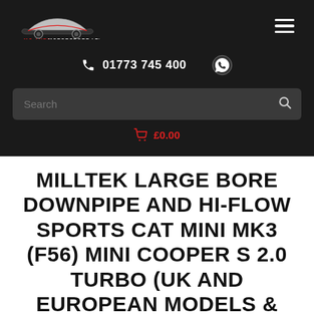[Figure (logo): MG Auto Motorsport Ltd logo with red car silhouette and text]
01773 745 400
Search
£0.00
MILLTEK LARGE BORE DOWNPIPE AND HI-FLOW SPORTS CAT MINI MK3 (F56) MINI COOPER S 2.0 TURBO (UK AND EUROPEAN MODELS &